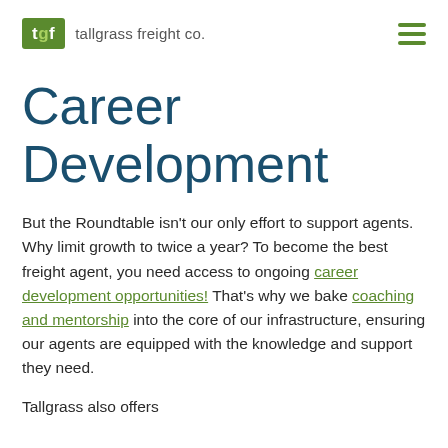tgf tallgrass freight co.
Career Development
But the Roundtable isn't our only effort to support agents. Why limit growth to twice a year? To become the best freight agent, you need access to ongoing career development opportunities! That's why we bake coaching and mentorship into the core of our infrastructure, ensuring our agents are equipped with the knowledge and support they need.
Tallgrass also offers...